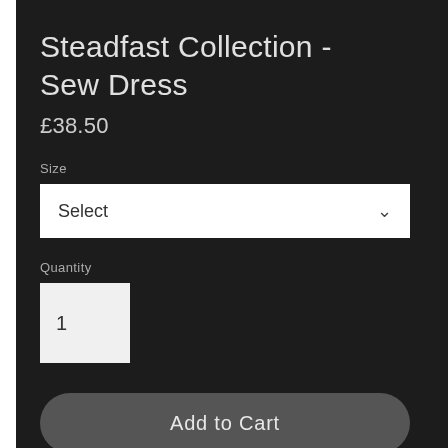Steadfast Collection - Sew Dress
£38.50
Size
[Figure (screenshot): Dropdown selector box with text 'Select' and a chevron arrow on the right]
Quantity
[Figure (screenshot): Quantity input box showing the number 1]
[Figure (screenshot): Add to Cart button, dark grey rounded rectangle]
✔ Unique Sew Dress by Daiane Medeiros Art. A style for every story.